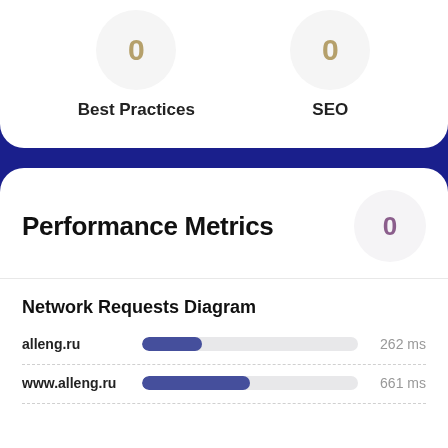[Figure (infographic): Score circle showing 0 for Best Practices]
Best Practices
[Figure (infographic): Score circle showing 0 for SEO]
SEO
Performance Metrics
[Figure (infographic): Score circle showing 0 for Performance Metrics]
Network Requests Diagram
alleng.ru
[Figure (bar-chart): Network Requests Diagram]
www.alleng.ru
[Figure (bar-chart): Network Requests Diagram]